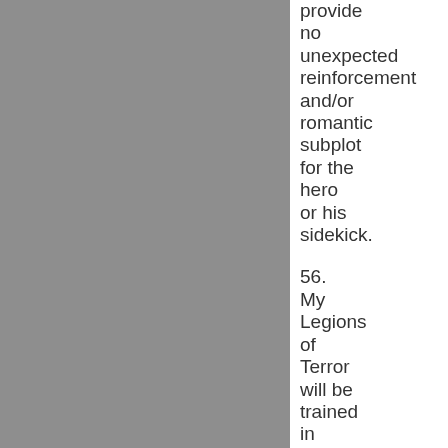provide no unexpected reinforcement and/or romantic subplot for the hero or his sidekick.
56. My Legions of Terror will be trained in basic marksmanship. Any who